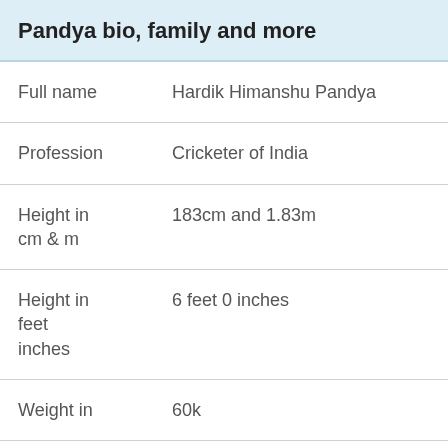Pandya bio, family and more
|  |  |
| --- | --- |
| Full name | Hardik Himanshu Pandya |
| Profession | Cricketer of India |
| Height in
cm & m | 183cm and 1.83m |
| Height in
feet
inches | 6 feet 0 inches |
| Weight in | 60k |